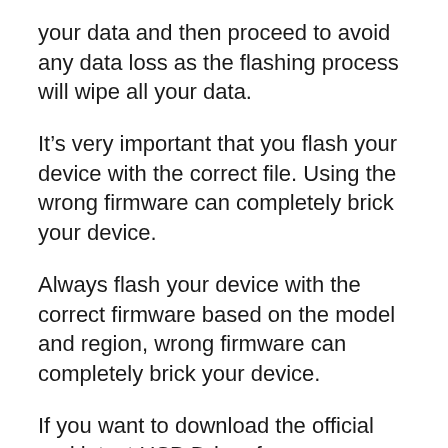your data and then proceed to avoid any data loss as the flashing process will wipe all your data.
It’s very important that you flash your device with the correct file. Using the wrong firmware can completely brick your device.
Always flash your device with the correct firmware based on the model and region, wrong firmware can completely brick your device.
If you want to download the official and latest USB Driver for any Samsung device, then head over to the Samsung USB Driver page.